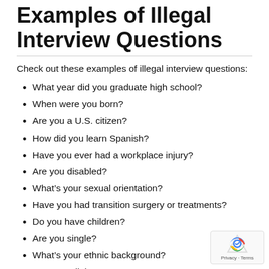Examples of Illegal Interview Questions
Check out these examples of illegal interview questions:
What year did you graduate high school?
When were you born?
Are you a U.S. citizen?
How did you learn Spanish?
Have you ever had a workplace injury?
Are you disabled?
What’s your sexual orientation?
Have you had transition surgery or treatments?
Do you have children?
Are you single?
What’s your ethnic background?
Are you religious?